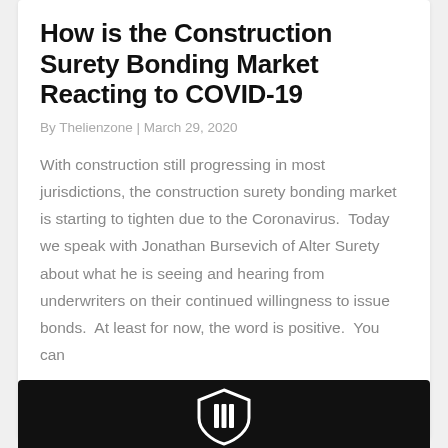How is the Construction Surety Bonding Market Reacting to COVID-19
By Thelienzone | March 29, 2020
With construction still progressing in most jurisdictions, the construction surety bonding market is starting to tighten due to the Coronavirus.  Today we speak with Jonathan Bursevich of Alter Surety about what he is seeing and hearing from underwriters on their continued willingness to issue bonds.  At least for now, the word is positive.  You can ...
[Figure (other): Dark card with shield logo at the bottom of the page]